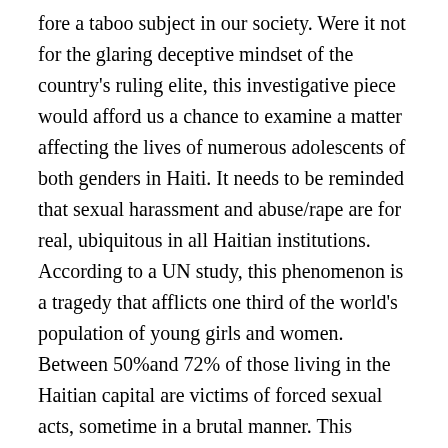fore a taboo subject in our society. Were it not for the glaring deceptive mindset of the country's ruling elite, this investigative piece would afford us a chance to examine a matter affecting the lives of numerous adolescents of both genders in Haiti. It needs to be reminded that sexual harassment and abuse/rape are for real, ubiquitous in all Haitian institutions. According to a UN study, this phenomenon is a tragedy that afflicts one third of the world's population of young girls and women. Between 50%and 72% of those living in the Haitian capital are victims of forced sexual acts, sometime in a brutal manner. This presents a major handicap to their professional development (Faedi, 2008).
It is illogical, sad and regrettable to conceive that Haitian journalists who claim to be defending and protecting human rights play the role of judges to manipulate public opinion against the accusers. They show no regard to inform the audience of the testimonies of these youngsters. Due to friendship and reciprocal favors, this sector of sycophants among the media trivializes the